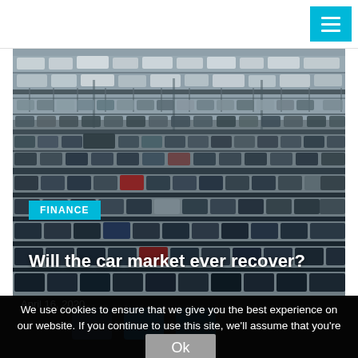[Figure (photo): Aerial view of a large car lot filled with hundreds of parked vehicles in rows, including vans and cars, taken from above.]
Will the car market ever recover?
April 16, 2020
We use cookies to ensure that we give you the best experience on our website. If you continue to use this site, we'll assume that you're ok with this.